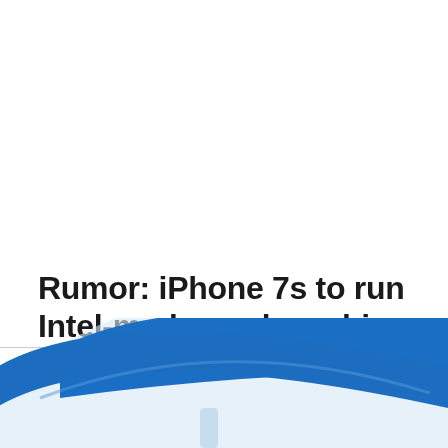Rumor: iPhone 7s to run Intel-made modem chip
Christian Zibreg · August 18, 2015
[Figure (illustration): Partial view of a circular logo or graphic with a blue arc on the upper portion and a light blue/grey lower section, cut off at the bottom of the page.]